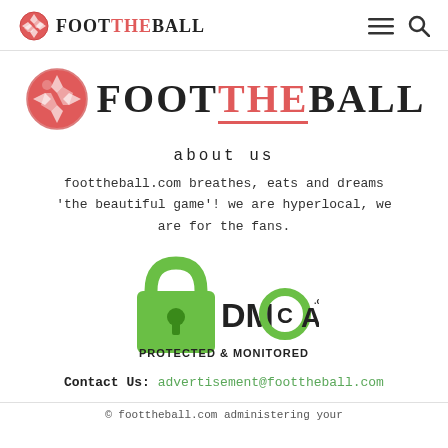FOOT THE BALL (logo) | hamburger menu | search icon
[Figure (logo): FootTheBall large logo with soccer ball icon and text FOOT[THE]BALL in large font]
about us
foottheball.com breathes, eats and dreams 'the beautiful game'! we are hyperlocal, we are for the fans.
[Figure (logo): DMCA Protected & Monitored badge with green padlock icon]
Contact Us: advertisement@foottheball.com
© foottheball.com administering your